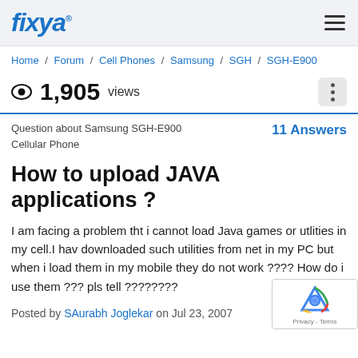fixya
Home / Forum / Cell Phones / Samsung / SGH / SGH-E900
1,905 views
Question about Samsung SGH-E900 Cellular Phone   11 Answers
How to upload JAVA applications ?
I am facing a problem tht i cannot load Java games or utlities in my cell.I hav downloaded such utilities from net in my PC but when i load them in my mobile they do not work ???? How do i use them ??? pls tell ????????
Posted by SAurabh Joglekar on Jul 23, 2007